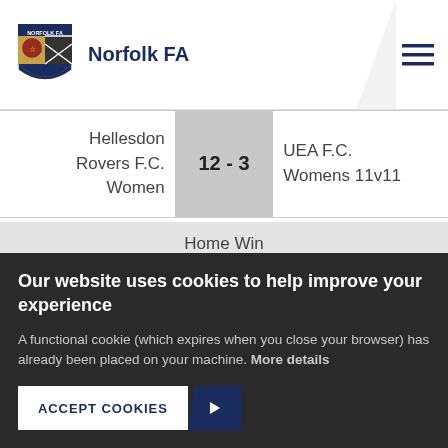Norfolk FA
| Home | Score | Away |
| --- | --- | --- |
| Hellesdon Rovers F.C. Women | 12 - 3 | UEA F.C. Womens 11v11 |
Home Win
7.
21/11/21    13:15
Our website uses cookies to help improve your experience
A functional cookie (which expires when you close your browser) has already been placed on your machine. More details
ACCEPT COOKIES